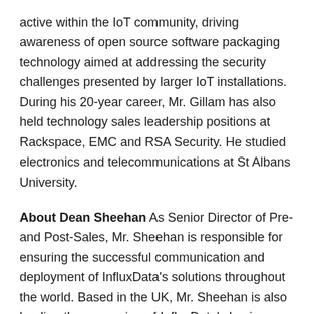active within the IoT community, driving awareness of open source software packaging technology aimed at addressing the security challenges presented by larger IoT installations. During his 20-year career, Mr. Gillam has also held technology sales leadership positions at Rackspace, EMC and RSA Security. He studied electronics and telecommunications at St Albans University.
About Dean Sheehan As Senior Director of Pre- and Post-Sales, Mr. Sheehan is responsible for ensuring the successful communication and deployment of InfluxData's solutions throughout the world. Based in the UK, Mr. Sheehan is also leading the expansion of InfluxData's business throughout Europe. He has more than 25 years of experience in the technology industry covering consulting, product development, product management and solution deployment throughout the